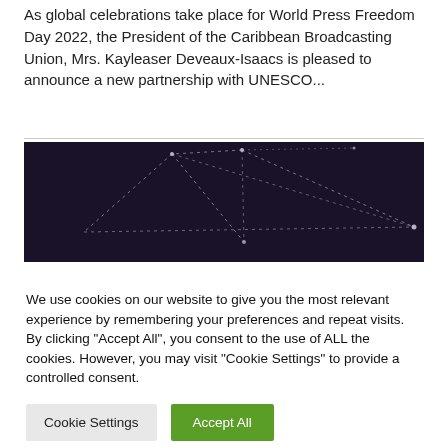As global celebrations take place for World Press Freedom Day 2022, the President of the Caribbean Broadcasting Union, Mrs. Kayleaser Deveaux-Isaacs is pleased to announce a new partnership with UNESCO...
[Figure (illustration): Dark purple/navy background with dotted white lines forming a geometric network or constellation-like pattern]
We use cookies on our website to give you the most relevant experience by remembering your preferences and repeat visits. By clicking "Accept All", you consent to the use of ALL the cookies. However, you may visit "Cookie Settings" to provide a controlled consent.